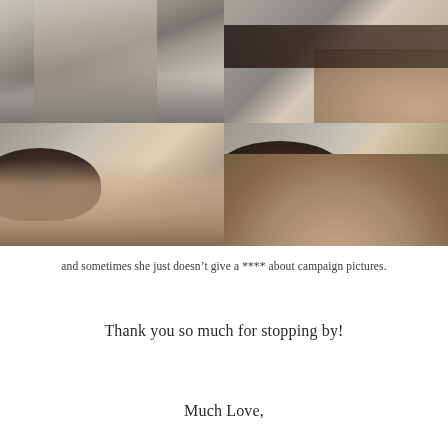[Figure (photo): Four-photo grid collage: top-left shows a person sitting on concrete steps wearing gray sweater and dark pants with purple sneakers; top-right shows a partial view of child's face close-up with person in background on steps; bottom-left shows a close-up of a young child's face looking up at the camera from a low angle on the steps; bottom-right shows an even closer crop of the same child's face.]
and sometimes she just doesn’t give a **** about campaign pictures.
Thank you so much for stopping by!
Much Love,